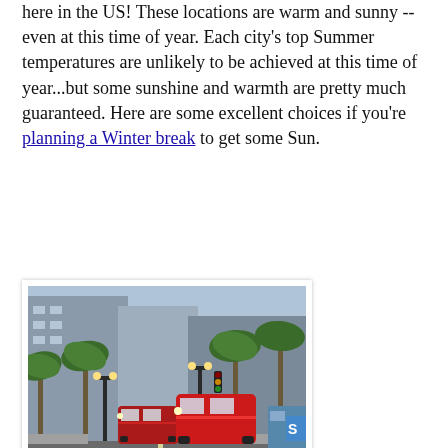here in the US! These locations are warm and sunny -- even at this time of year. Each city's top Summer temperatures are unlikely to be achieved at this time of year...but some sunshine and warmth are pretty much guaranteed. Here are some excellent choices if you're planning a Winter break to get some Sun.
[Figure (photo): Street scene showing red trolley/streetcars on a city boulevard lined with tall palm trees and lamp posts, with urban buildings on either side.]